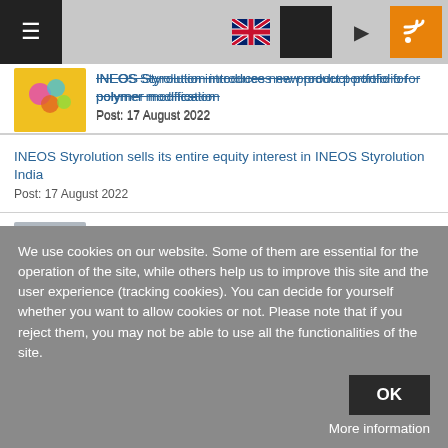Navigation header with hamburger menu, UK flag, dark button, video button, RSS button
INEOS Styrolution introduces new product portfolio for polymer modification
Post: 17 August 2022
INEOS Styrolution sells its entire equity interest in INEOS Styrolution India
Post: 17 August 2022
Airnov to launch pioneering, sustainable HAT-B vial at upcoming AACC event
Post: 17 August 2022
Mondi expands capacity in sustainable pet food packaging solutions
Post: 17 August 2022
We use cookies on our website. Some of them are essential for the operation of the site, while others help us to improve this site and the user experience (tracking cookies). You can decide for yourself whether you want to allow cookies or not. Please note that if you reject them, you may not be able to use all the functionalities of the site.
OK
More information